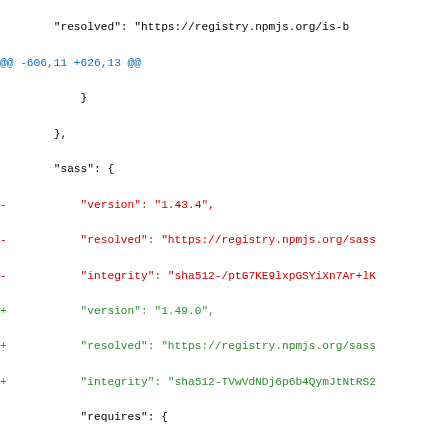diff code showing git diff of package-lock.json with changes to sass and source-map-js packages
"resolved": "https://registry.npmjs.org/is-b
@@ -606,11 +626,13 @@
}
},
"sass": {
-  "version": "1.43.4",
-  "resolved": "https://registry.npmjs.org/sass
-  "integrity": "sha512-/ptG7KE9lxpGSYiXn7Ar+lK
+  "version": "1.49.0",
+  "resolved": "https://registry.npmjs.org/sass
+  "integrity": "sha512-TVwVdNDj6p6b4QymJtNtRS2
"requires": {
-  "chokidar": ">=3.0.0 <4.0.0"
+  "chokidar": ">=3.0.0 <4.0.0",
+  "immutable": "^4.0.0",
+  "source-map-js": ">=0.6.2 <2.0.0"
}
},
"source-map": {
@@ -618,6 +640,11 @@
"resolved": "https://registry.npmjs.org/sour
  "integrity": "sha512-UjgapumWlbMhkBgzT7Ykc5Y
},
+  "source-map-js": {
+  "version": "1.0.2",
+  "resolved": "https://registry.npmjs.org/sour
+  "integrity": "sha512-R0XvVJ9WusLiqTCEiGCmICC
+  },
"strip-ansi": {
  "version": "3.0.1",